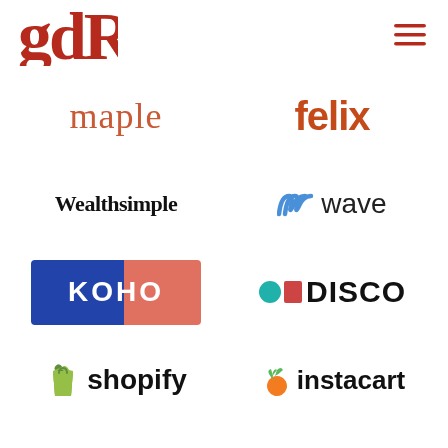[Figure (logo): gdR logo in dark red serif font, top left]
[Figure (logo): Hamburger menu icon in dark red, top right]
[Figure (logo): maple logo in salmon/orange serif lowercase font]
[Figure (logo): felix logo in bold burnt orange sans-serif font]
[Figure (logo): Wealthsimple logo in bold black serif font]
[Figure (logo): Wave logo with blue double-slash icon and wave text]
[Figure (logo): KOHO logo with blue and salmon background rectangle]
[Figure (logo): DISCO logo with teal circle and red square icons]
[Figure (logo): Shopify logo with shopping bag icon and shopify text]
[Figure (logo): instacart logo with carrot icon and instacart text]